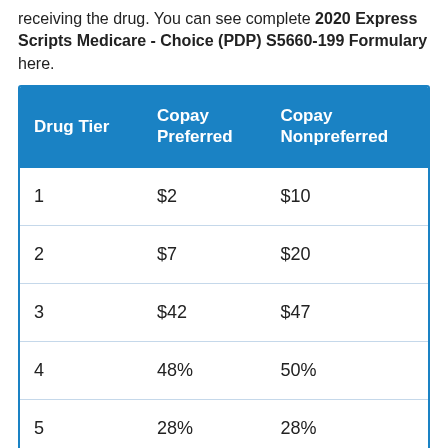receiving the drug. You can see complete 2020 Express Scripts Medicare - Choice (PDP) S5660-199 Formulary here.
| Drug Tier | Copay Preferred | Copay Nonpreferred |
| --- | --- | --- |
| 1 | $2 | $10 |
| 2 | $7 | $20 |
| 3 | $42 | $47 |
| 4 | 48% | 50% |
| 5 | 28% | 28% |